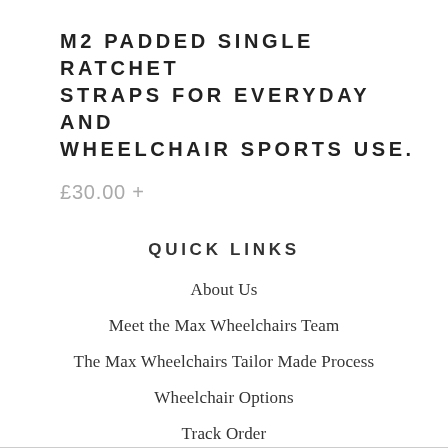M2 PADDED SINGLE RATCHET STRAPS FOR EVERYDAY AND WHEELCHAIR SPORTS USE.
£30.00 +
CH WH BO
£65
QUICK LINKS
About Us
Meet the Max Wheelchairs Team
The Max Wheelchairs Tailor Made Process
Wheelchair Options
Track Order